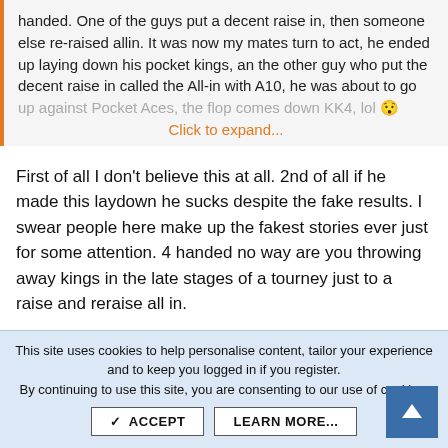handed. One of the guys put a decent raise in, then someone else re-raised allin. It was now my mates turn to act, he ended up laying down his pocket kings, an the other guy who put the decent raise in called the All-in with A10, he was about to go up against Pocket Aces, the flop comes down KK4, lol 😯
Click to expand...
First of all I don't believe this at all. 2nd of all if he made this laydown he sucks despite the fake results. I swear people here make up the fakest stories ever just for some attention. 4 handed no way are you throwing away kings in the late stages of a tourney just to a raise and reraise all in.
Reply
shortstacked
This site uses cookies to help personalise content, tailor your experience and to keep you logged in if you register.
By continuing to use this site, you are consenting to our use of cookies.
ACCEPT
LEARN MORE...